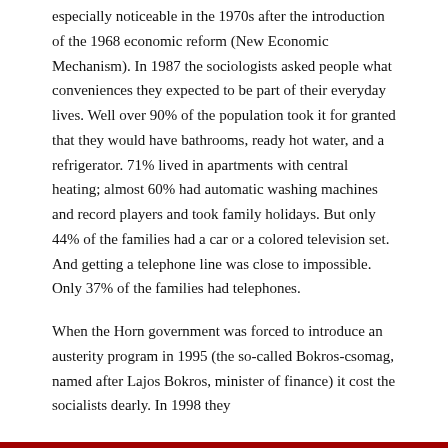especially noticeable in the 1970s after the introduction of the 1968 economic reform (New Economic Mechanism). In 1987 the sociologists asked people what conveniences they expected to be part of their everyday lives. Well over 90% of the population took it for granted that they would have bathrooms, ready hot water, and a refrigerator. 71% lived in apartments with central heating; almost 60% had automatic washing machines and record players and took family holidays. But only 44% of the families had a car or a colored television set. And getting a telephone line was close to impossible. Only 37% of the families had telephones.
When the Horn government was forced to introduce an austerity program in 1995 (the so-called Bokros-csomag, named after Lajos Bokros, minister of finance) it cost the socialists dearly. In 1998 they
Privacy & Cookies: This site uses cookies. By continuing to use this website, you agree to their use.
To find out more, including how to control cookies, see here: Cookie Policy
Close and accept